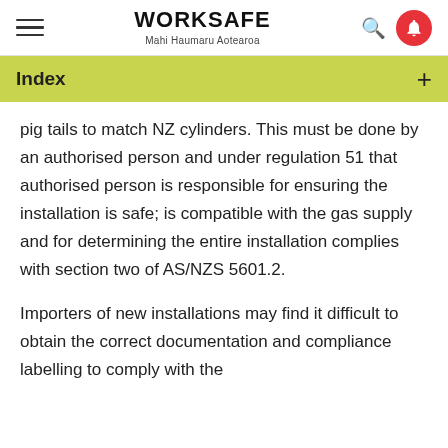WORKSAFE Mahi Haumaru Aotearoa
Index
pig tails to match NZ cylinders. This must be done by an authorised person and under regulation 51 that authorised person is responsible for ensuring the installation is safe; is compatible with the gas supply and for determining the entire installation complies with section two of AS/NZS 5601.2.
Importers of new installations may find it difficult to obtain the correct documentation and compliance labelling to comply with the